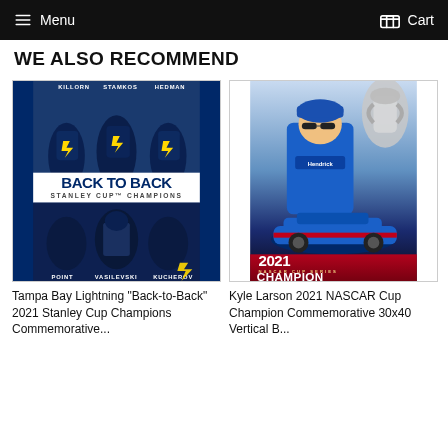Menu  Cart
WE ALSO RECOMMEND
[Figure (photo): Tampa Bay Lightning Back-to-Back Stanley Cup Champions 2021 commemorative poster showing players Killorn, Stamkos, Hedman (top) and Point, Vasilevski, Kucherov (bottom) with 'BACK TO BACK STANLEY CUP CHAMPIONS' text]
[Figure (photo): Kyle Larson 2021 NASCAR Cup Series Champion commemorative banner showing Larson in racing suit with trophy and race car]
Tampa Bay Lightning "Back-to-Back" 2021 Stanley Cup Champions Commemorative...
Kyle Larson 2021 NASCAR Cup Champion Commemorative 30x40 Vertical B...